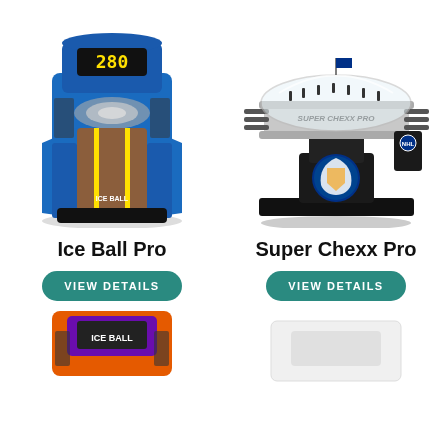[Figure (photo): Ice Ball Pro arcade skee-ball machine, blue cabinet with score display showing 280, wooden lane with yellow accent lines]
Ice Ball Pro
VIEW DETAILS
[Figure (photo): Super Chexx Pro dome hockey table game, black pedestal base with Buffalo Sabres logo, clear dome cover, NHL licensed]
Super Chexx Pro
VIEW DETAILS
[Figure (photo): Partial view of another arcade game at bottom left, orange and purple cabinet]
[Figure (photo): Partial view of another product at bottom right, mostly white/light colored]